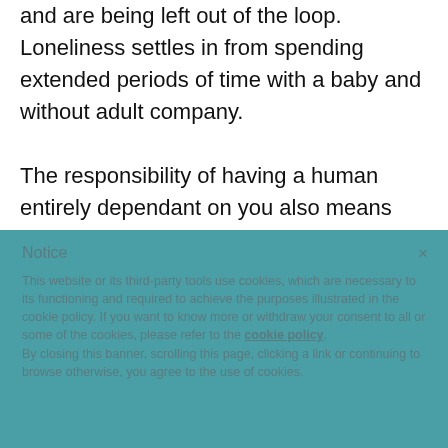and are being left out of the loop. Loneliness settles in from spending extended periods of time with a baby and without adult company.
The responsibility of having a human entirely dependant on you also means that your needs can often go unmet if you don't have a solid support system.
Notice
×
This website or its third-party tools use cookies, which are necessary to its functioning and required to achieve the purposes illustrated in the cookie policy. If you want to know more or withdraw your consent to all or some of the cookies, please refer to the cookie policy.
By closing this banner, scrolling this page, clicking a link or continuing to browse otherwise, you agree to the use of cookies.